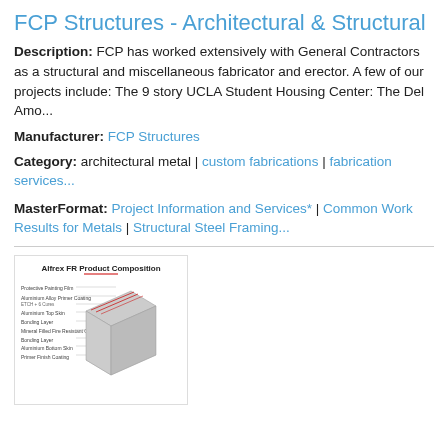FCP Structures - Architectural & Structural
Description: FCP has worked extensively with General Contractors as a structural and miscellaneous fabricator and erector. A few of our projects include: The 9 story UCLA Student Housing Center: The Del Amo...
Manufacturer: FCP Structures
Category: architectural metal | custom fabrications | fabrication services...
MasterFormat: Project Information and Services* | Common Work Results for Metals | Structural Steel Framing...
[Figure (illustration): Alfrex FR Product Composition diagram showing layered material cross-section with labels for each layer including protective coating, bonding layers, and aluminum skin.]